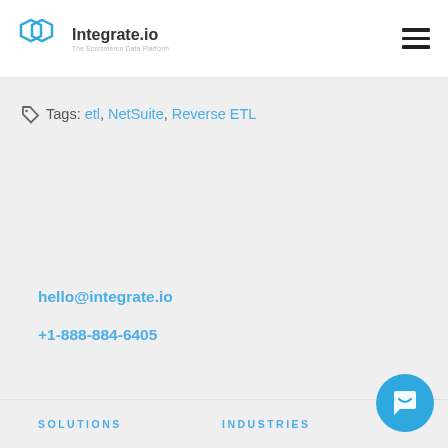Integrate.io — The Ecommerce Data Platform
Tags: etl, NetSuite, Reverse ETL
hello@integrate.io
+1-888-884-6405
SOLUTIONS   INDUSTRIES